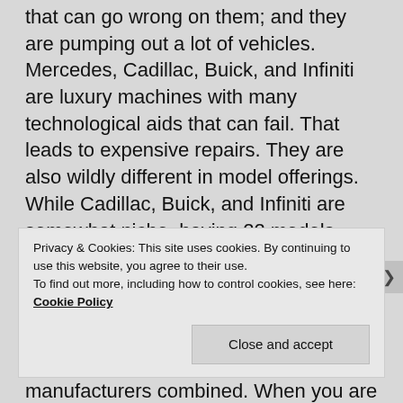that can go wrong on them; and they are pumping out a lot of vehicles. Mercedes, Cadillac, Buick, and Infiniti are luxury machines with many technological aids that can fail. That leads to expensive repairs. They are also wildly different in model offerings. While Cadillac, Buick, and Infiniti are somewhat niche, having 22 models collectively offered, Mercedes has 29 different models on their American website alone. Nissan has 17 different models. Mercedes has more models offered than four of the top five manufacturers combined. When you are making that many different cars, at the volume that they are, it begins to paint the picture of why these
Privacy & Cookies: This site uses cookies. By continuing to use this website, you agree to their use.
To find out more, including how to control cookies, see here: Cookie Policy